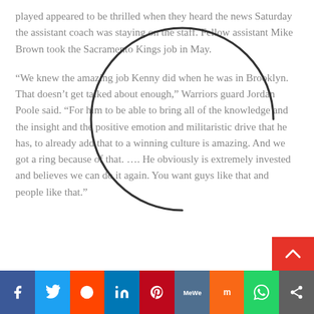played appeared to be thrilled when they heard the news Saturday the assistant coach was staying on the staff. Fellow assistant Mike Brown took the Sacramento Kings job in May.
“We knew the amazing job Kenny did when he was in Brooklyn. That doesn’t get talked about enough,” Warriors guard Jordan Poole said. “For him to be able to bring all of the knowledge and the insight and the positive emotion and militaristic drive that he has, to already add that to a winning culture is amazing. And we got a ring because of that. …. He obviously is extremely invested and believes we can do it again. You want guys like that and people like that.”
[Figure (other): Loading spinner circle drawn over the text]
Social share bar: Facebook, Twitter, Reddit, LinkedIn, Pinterest, MeWe, Mix, WhatsApp, Share